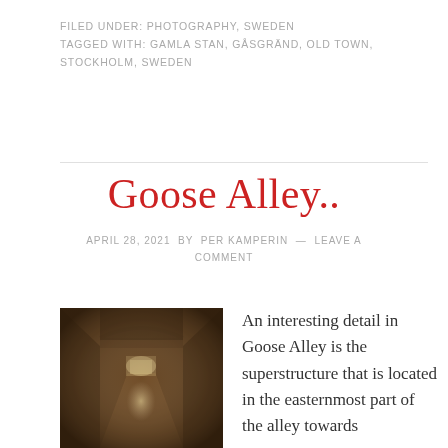FILED UNDER: PHOTOGRAPHY, SWEDEN
TAGGED WITH: GAMLA STAN, GÅSGRÄND, OLD TOWN, STOCKHOLM, SWEDEN
Goose Alley..
APRIL 28, 2021 BY PER KAMPERIN — LEAVE A COMMENT
[Figure (photo): Sepia-toned photograph of a narrow, dark alley (Goose Alley / Gåsgränd) in Stockholm's Gamla Stan, with cobblestone path leading toward a lit end, framed by old stone walls with an arched superstructure overhead.]
An interesting detail in Goose Alley is the superstructure that is located in the easternmost part of the alley towards